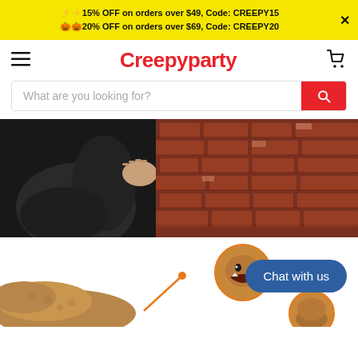⚡⚡15% OFF on orders over $49, Code: CREEPY15
🎃🎃20% OFF on orders over $69, Code: CREEPY20
Creepyparty
What are you looking for?
[Figure (photo): Person in black jacket peeking around a brick wall, Halloween theme]
[Figure (photo): Dinosaur T-Rex costume/mask product image with circular zoom inset showing open mouth detail, and orange pointer line. Chat with us button overlay.]
Chat with us